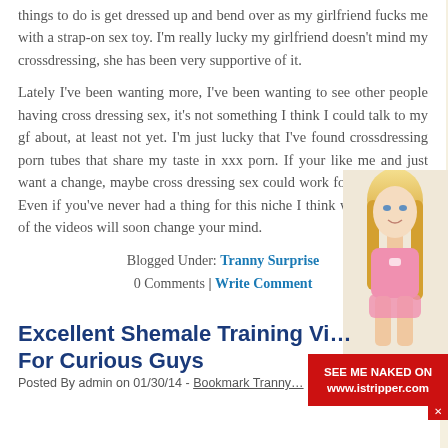things to do is get dressed up and bend over as my girlfriend fucks me with a strap-on sex toy. I'm really lucky my girlfriend doesn't mind my crossdressing, she has been very supportive of it.
Lately I've been wanting more, I've been wanting to see other people having cross dressing sex, it's not something I think I could talk to my gf about, at least not yet. I'm just lucky that I've found crossdressing porn tubes that share my taste in xxx porn. If your like me and just want a change, maybe cross dressing sex could work for you as well? Even if you've never had a thing for this niche I think watching some of the videos will soon change your mind.
Blogged Under: Tranny Surprise
0 Comments | Write Comment
[Figure (photo): Blonde woman in pink lingerie]
[Figure (other): Advertisement overlay: SEE ME NAKED ON www.istripper.com]
Excellent Shemale Training Vi… For Curious Guys
Posted By admin on 01/30/14 - Bookmark Tranny…